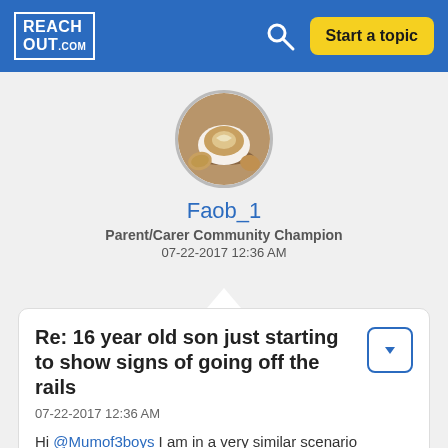REACHOUT.com | Start a topic
[Figure (photo): User avatar showing a latte coffee art in a cup with cookies]
Faob_1
Parent/Carer Community Champion
07-22-2017 12:36 AM
Re: 16 year old son just starting to show signs of going off the rails
07-22-2017 12:36 AM
Hi @Mumof3boys I am in a very similar scenario